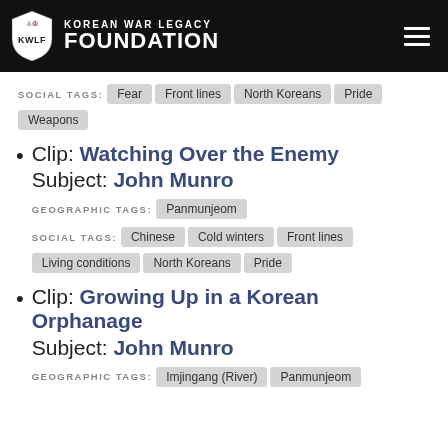Korean War Legacy Foundation
SOCIAL TAGS: Fear, Front lines, North Koreans, Pride, Weapons
Clip: Watching Over the Enemy | Subject: John Munro | GEOGRAPHIC TAGS: Panmunjeom | SOCIAL TAGS: Chinese, Cold winters, Front lines, Living conditions, North Koreans, Pride
Clip: Growing Up in a Korean Orphanage | Subject: John Munro | GEOGRAPHIC TAGS: Imjingang (River), Panmunjeom